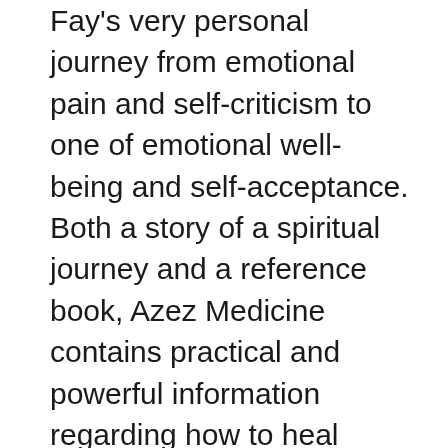Fay's very personal journey from emotional pain and self-criticism to one of emotional well-being and self-acceptance. Both a story of a spiritual journey and a reference book, Azez Medicine contains practical and powerful information regarding how to heal yourself easily using the guidance of The Beings of the Light. Fay shares what The Beings of the Light taught her about healing the mind, body, spirit, and more - and you'll see that these loving beings are eager to help you too. In fact, this book will show you how to